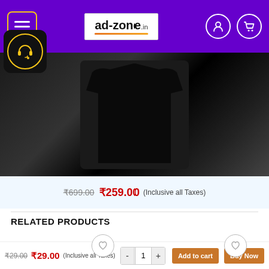[Figure (screenshot): ad-zone.in website header with purple background, hamburger menu icon, logo, and user/cart icons]
[Figure (photo): Product image showing a dark/black t-shirt on light blue background]
₹699.00  ₹259.00 (Inclusive all Taxes)
RELATED PRODUCTS
[Figure (photo): Placeholder image for related product 1 with heart/wishlist button]
[Figure (photo): Placeholder image for related product 2 with heart/wishlist button]
₹29.00  ₹29.00 (Inclusive all Taxes)  - 1 +  Add to cart  Buy Now